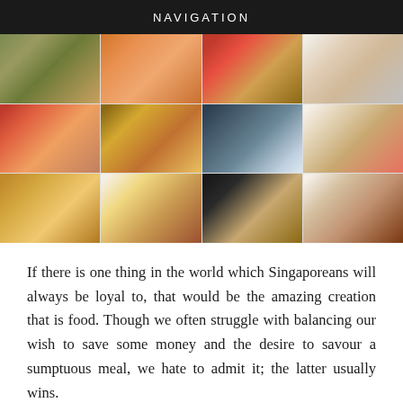NAVIGATION
[Figure (photo): A 4x3 grid of food photography showing various brunch dishes including salads, bowls, burgers, drinks, sandwiches, steaks, pancakes, and other cafe/restaurant meals.]
If there is one thing in the world which Singaporeans will always be loyal to, that would be the amazing creation that is food. Though we often struggle with balancing our wish to save some money and the desire to savour a sumptuous meal, we hate to admit it; the latter usually wins.
In Singapore, we are fortunate that there are tons of fantastic brunch spots around the country. And